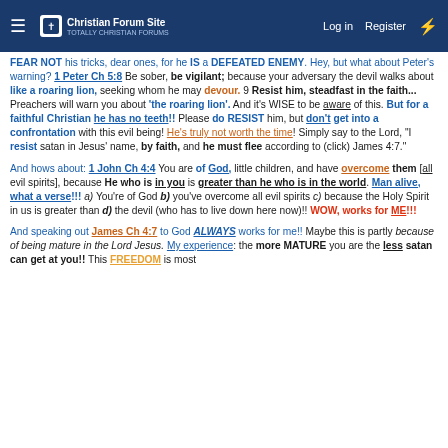Christian Forum Site — Log in | Register
FEAR NOT his tricks, dear ones, for he IS a DEFEATED ENEMY. Hey, but what about Peter's warning? 1 Peter Ch 5:8 Be sober, be vigilant; because your adversary the devil walks about like a roaring lion, seeking whom he may devour. 9 Resist him, steadfast in the faith... Preachers will warn you about 'the roaring lion'. And it's WISE to be aware of this. But for a faithful Christian he has no teeth!! Please do RESIST him, but don't get into a confrontation with this evil being! He's truly not worth the time! Simply say to the Lord, "I resist satan in Jesus' name, by faith, and he must flee according to (click) James 4:7."
And hows about: 1 John Ch 4:4 You are of God, little children, and have overcome them [all evil spirits], because He who is in you is greater than he who is in the world. Man alive, what a verse!!! a) You're of God b) you've overcome all evil spirits c) because the Holy Spirit in us is greater than d) the devil (who has to live down here now)!! WOW, works for ME!!!
And speaking out James Ch 4:7 to God ALWAYS works for me!! Maybe this is partly because of being mature in the Lord Jesus. My experience: the more MATURE you are the less satan can get at you!! This FREEDOM is most remarkable, to sit quietly and be fully at peace without any worry this